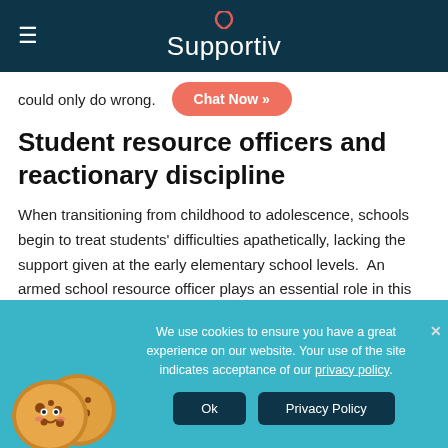Supportiv
could only do wrong.
Student resource officers and reactionary discipline
When transitioning from childhood to adolescence, schools begin to treat students' difficulties apathetically, lacking the support given at the early elementary school levels.  An armed school resource officer plays an essential role in this shift. Discipline is now out of the hands of teachers and in the hand of the SRO. SROs view misbehavior as an excuse for an
We use cookies to ensure you have a great experience on our website. Your use of the site indicates acceptance of our privacy policy.